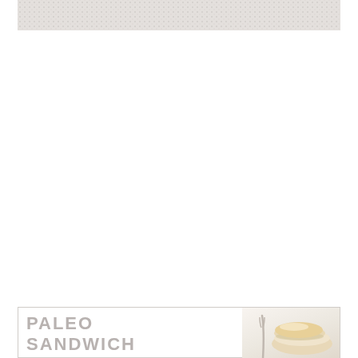[Figure (photo): Close-up photo of a light-colored knit or mesh fabric texture, pale grey/white in color, shown at the top of the page.]
PALEO
SANDWICH
[Figure (photo): Partial photo of a paleo sandwich dish, visible in the bottom-right corner of the card.]